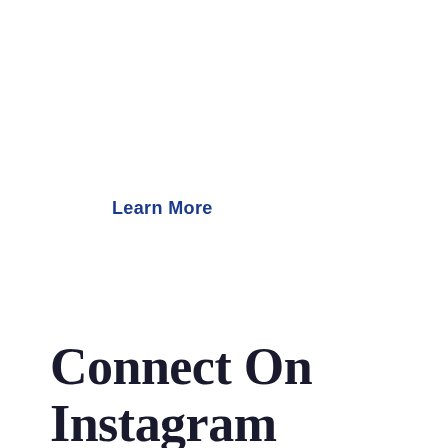Learn More
Connect On Instagram